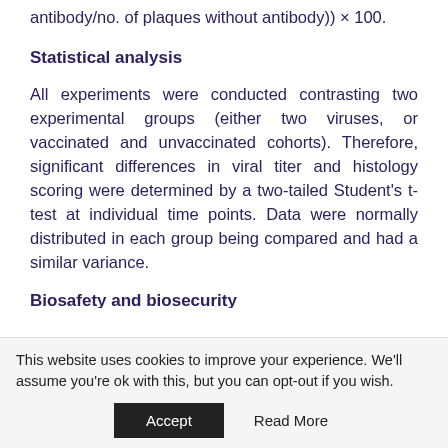calculated as (1 − (no. of plaques with an antibody/no. of plaques without antibody)) × 100.
Statistical analysis
All experiments were conducted contrasting two experimental groups (either two viruses, or vaccinated and unvaccinated cohorts). Therefore, significant differences in viral titer and histology scoring were determined by a two-tailed Student's t-test at individual time points. Data were normally distributed in each group being compared and had a similar variance.
Biosafety and biosecurity
This website uses cookies to improve your experience. We'll assume you're ok with this, but you can opt-out if you wish.